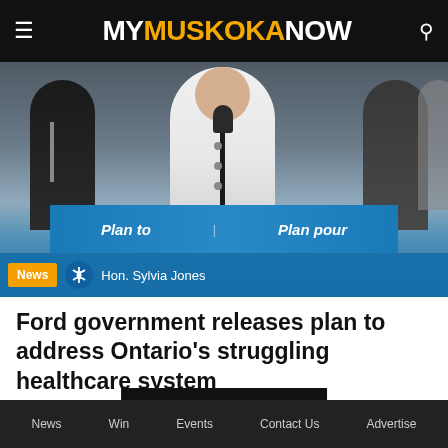MY MUSKOKA NOW
[Figure (photo): Hon. Sylvia Jones at a podium with 'Plan to / Plan pour' signage, flanked by government officials. Ontario government press conference photo with a blue news banner overlay showing 'News' tag and 'Hon. Sylvia Jones' caption.]
Ford government releases plan to address Ontario's struggling healthcare system
LOAD MORE
News   Win   Events   Contact Us   Advertise